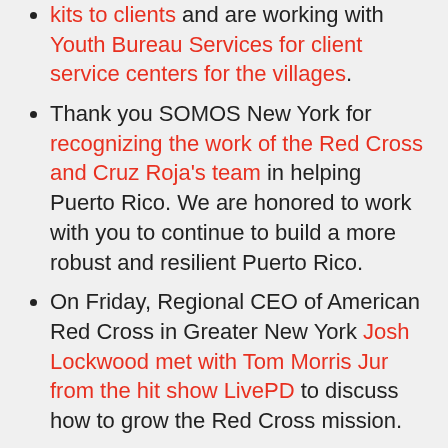kits to clients and are working with Youth Bureau Services for client service centers for the villages.
Thank you SOMOS New York for recognizing the work of the Red Cross and Cruz Roja's team in helping Puerto Rico. We are honored to work with you to continue to build a more robust and resilient Puerto Rico.
On Friday, Regional CEO of American Red Cross in Greater New York Josh Lockwood met with Tom Morris Jur from the hit show LivePD to discuss how to grow the Red Cross mission.
Local Red Crossers including our Communications Officer Mike de Vulpillieres deployed to Butte County, California to open shelters, assist wildfire evacuees, and provide supplies.
The FDNY Disaster Assistance Response Team (DART) recently returned to NYC after a deployment to Florida to assist those affected by